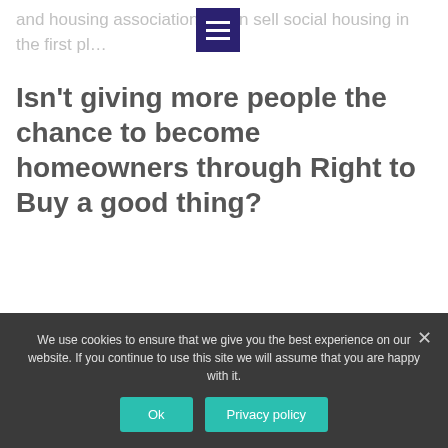and housing associations even sell social housing in the first pl…
Isn't giving more people the chance to become homeowners through Right to Buy a good thing?
Well, yes. Being of the conveyancing persuasion, we are generally very in favour of people buying homes. There are some
We use cookies to ensure that we give you the best experience on our website. If you continue to use this site we will assume that you are happy with it.